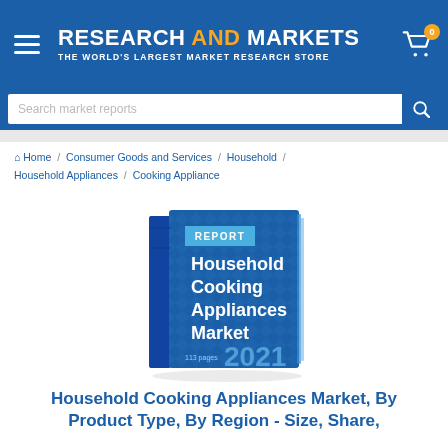RESEARCH AND MARKETS THE WORLD'S LARGEST MARKET RESEARCH STORE
Search market reports
Home / Consumer Goods and Services / Household / Household Appliances / Cooking Appliance
[Figure (illustration): 3D book cover with blue background showing 'REPORT' label at top, title 'Household Cooking Appliances Market', '113 pages', and year '2021']
Household Cooking Appliances Market, By Product Type, By Region - Size, Share,